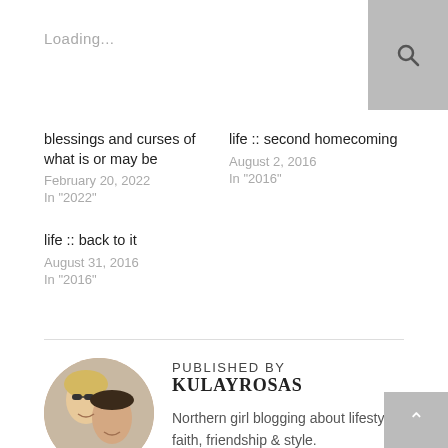Loading...
blessings and curses of what is or may be
February 20, 2022
In "2022"
life :: second homecoming
August 2, 2016
In "2016"
life :: back to it
August 31, 2016
In "2016"
[Figure (photo): Circular profile photo of two women smiling, one with blonde hair wearing sunglasses, another with dark hair.]
PUBLISHED BY KULAYROSAS
Northern girl blogging about lifestyle, faith, friendship & style.